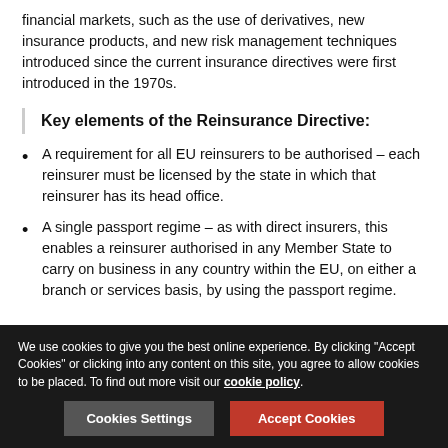financial markets, such as the use of derivatives, new insurance products, and new risk management techniques introduced since the current insurance directives were first introduced in the 1970s.
Key elements of the Reinsurance Directive:
A requirement for all EU reinsurers to be authorised – each reinsurer must be licensed by the state in which that reinsurer has its head office.
A single passport regime – as with direct insurers, this enables a reinsurer authorised in any Member State to carry on business in any country within the EU, on either a branch or services basis, by using the passport regime.
We use cookies to give you the best online experience. By clicking "Accept Cookies" or clicking into any content on this site, you agree to allow cookies to be placed. To find out more visit our cookie policy.